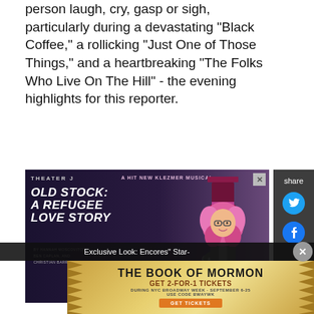person laugh, cry, gasp or sigh, particularly during a devastating "Black Coffee," a rollicking "Just One of Those Things," and a heartbreaking "The Folks Who Live On The Hill" - the evening highlights for this reporter.
[Figure (photo): Theater J advertisement for 'Old Stock: A Refugee Love Story' - A Hit New Klezmer Musical, September 7-25, 2022, with Get Tickets button. Features performer with pink hair and top hat.]
[Figure (photo): Concert/performance photo showing a female singer on stage with purple stage lighting]
Exclusive Look: Encores" Star-
[Figure (photo): Advertisement for The Book of Mormon - Get 2-for-1 Tickets during NYC Broadway Week, September 6-25, Use Code BWAYWK, Get Tickets]